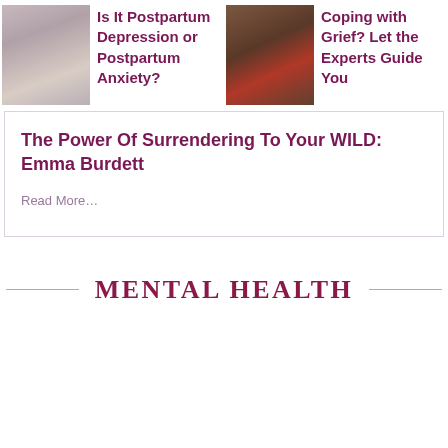[Figure (photo): Postpartum mother with baby, muted tones]
Is It Postpartum Depression or Postpartum Anxiety?
[Figure (photo): Person coping with grief, dark emotional tones]
Coping with Grief? Let the Experts Guide You
The Power Of Surrendering To Your WILD: Emma Burdett
Read More…
MENTAL HEALTH